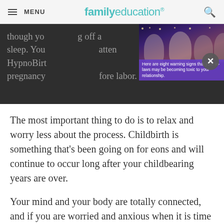MENU | familyeducation
[Figure (screenshot): Partially visible article text overlaid with a video advertisement thumbnail showing people at a dinner table with caption 'Here are eight warning signs that your in-laws may be becoming toxic to your relationship.' and a close (X) button.]
The most important thing to do is to relax and worry less about the process. Childbirth is something that's been going on for eons and will continue to occur long after your childbearing years are over.
Your mind and your body are totally connected, and if you are worried and anxious when it is time to give birth, you will make your body